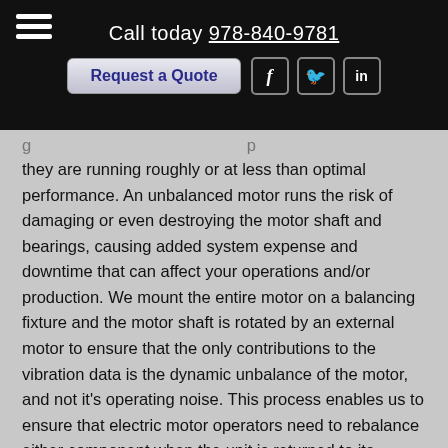Call today 978-840-9781 | Request a Quote
they are running roughly or at less than optimal performance. An unbalanced motor runs the risk of damaging or even destroying the motor shaft and bearings, causing added system expense and downtime that can affect your operations and/or production. We mount the entire motor on a balancing fixture and the motor shaft is rotated by an external motor to ensure that the only contributions to the vibration data is the dynamic unbalance of the motor, and not it's operating noise. This process enables us to ensure that electric motor operators need to rebalance either component when the unit is returned to its application.